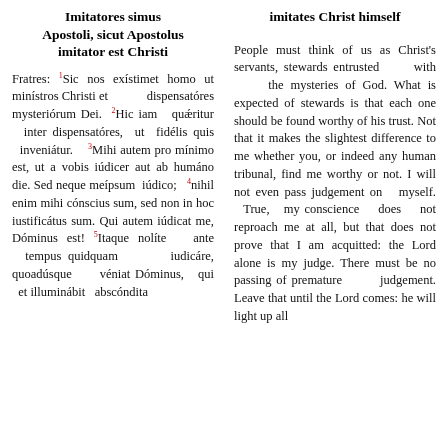Imitatores simus Apostoli, sicut Apostolus imitator est Christi
Fratres: 1Sic nos exístimet homo ut minístros Christi et dispensatóres mysteriórum Dei. 2Hic iam quǽritur inter dispensatóres, ut fidélis quis inveniátur. 3Mihi autem pro mínimo est, ut a vobis iúdicer aut ab humáno die. Sed neque meípsum iúdico; 4nihil enim mihi cónscius sum, sed non in hoc iustificátus sum. Qui autem iúdicat me, Dóminus est! 5Itaque nolíte ante tempus quidquam iudicáre, quoadúsque véniat Dóminus, qui et illuminábit abscóndita
imitates Christ himself
People must think of us as Christ's servants, stewards entrusted with the mysteries of God. What is expected of stewards is that each one should be found worthy of his trust. Not that it makes the slightest difference to me whether you, or indeed any human tribunal, find me worthy or not. I will not even pass judgement on myself. True, my conscience does not reproach me at all, but that does not prove that I am acquitted: the Lord alone is my judge. There must be no passing of premature judgement. Leave that until the Lord comes: he will light up all